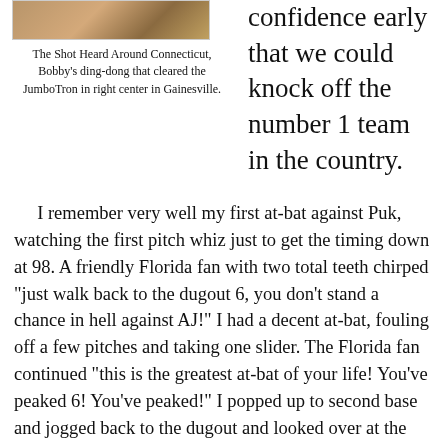[Figure (photo): Photo of a baseball scene, partially visible at top]
The Shot Heard Around Connecticut, Bobby's ding-dong that cleared the JumboTron in right center in Gainesville.
confidence early that we could knock off the number 1 team in the country.
I remember very well my first at-bat against Puk, watching the first pitch whiz just to get the timing down at 98. A friendly Florida fan with two total teeth chirped “just walk back to the dugout 6, you don’t stand a chance in hell against AJ!” I had a decent at-bat, fouling off a few pitches and taking one slider. The Florida fan continued “this is the greatest at-bat of your life! You’ve peaked 6! You’ve peaked!” I popped up to second base and jogged back to the dugout and looked over at the